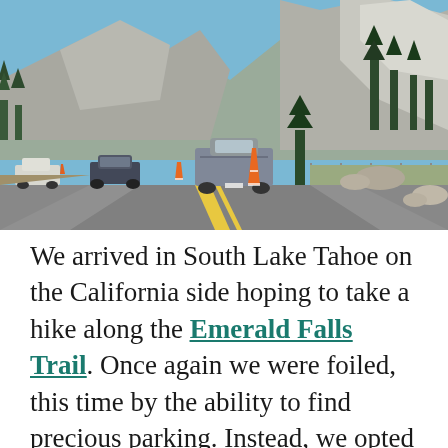[Figure (photo): A mountain road with a gray pickup truck ahead, orange traffic cones on the left lane, steep granite mountain slopes covered with conifer trees in the background, blue sky visible at top. South Lake Tahoe area road scene.]
We arrived in South Lake Tahoe on the California side hoping to take a hike along the Emerald Falls Trail. Once again we were foiled, this time by the ability to find precious parking. Instead, we opted for a lakeside late lunch and toasted the still snow-capped mountains surrounding this stunning lake already